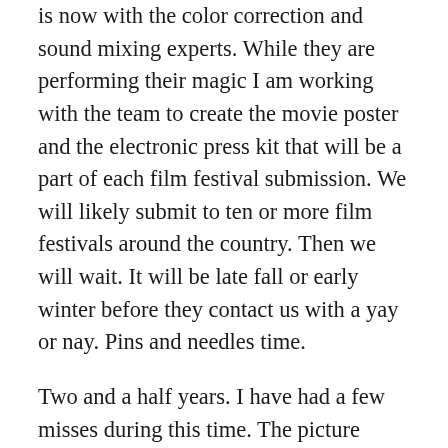is now with the color correction and sound mixing experts.  While they are performing their magic I am working with the team to create the movie poster and the electronic press kit that will be a part of each film festival submission.  We will likely submit to ten or more film festivals around the country. Then we will wait.  It will be late fall or early winter before they contact us with a yay or nay.  Pins and needles time.
Two and a half years. I have had a few misses during this time.  The picture above was one of them. I was being filmed for a possible opening sequence in the Beyond Sixty Project.  It was scripted.  I just couldn't do it.  They were my words, more or less, but I couldn't string them together and sound like me.  I would make a lousy actress.  I cannot imagine ever learning to memorize a script.